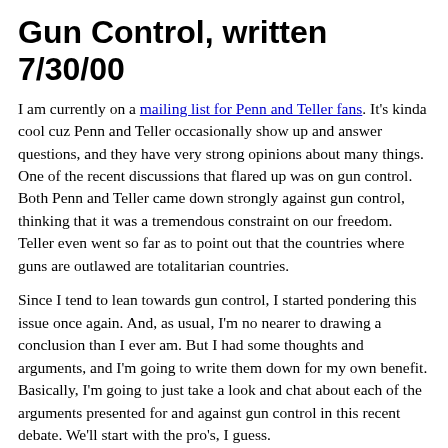Gun Control, written 7/30/00
I am currently on a mailing list for Penn and Teller fans. It's kinda cool cuz Penn and Teller occasionally show up and answer questions, and they have very strong opinions about many things. One of the recent discussions that flared up was on gun control. Both Penn and Teller came down strongly against gun control, thinking that it was a tremendous constraint on our freedom. Teller even went so far as to point out that the countries where guns are outlawed are totalitarian countries.
Since I tend to lean towards gun control, I started pondering this issue once again. And, as usual, I'm no nearer to drawing a conclusion than I ever am. But I had some thoughts and arguments, and I'm going to write them down for my own benefit. Basically, I'm going to just take a look and chat about each of the arguments presented for and against gun control in this recent debate. We'll start with the pro's, I guess.
Reason number one given is the idea of freedom, as alluded to above. This is the one that makes the least sense to me, honestly. People that claim they need guns so that they can fight off an unjust government seem to be deeply deluded to me. For one thing, guns are not going to get you very far when the government has